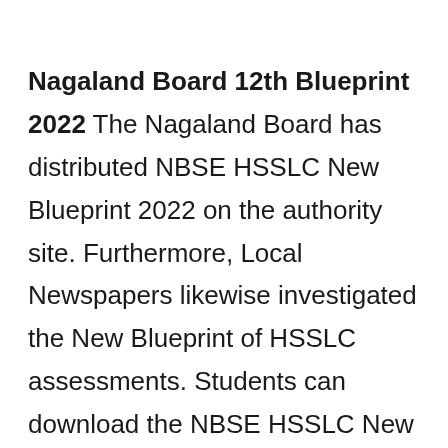Nagaland Board 12th Blueprint 2022 The Nagaland Board has distributed NBSE HSSLC New Blueprint 2022 on the authority site. Furthermore, Local Newspapers likewise investigated the New Blueprint of HSSLC assessments. Students can download the NBSE HSSLC New Blueprint 2022 from the authority site of the Nagaland Board of School Education or through this article at beneath gave interface. Competitors can allude the beneath test New Blueprint. In this